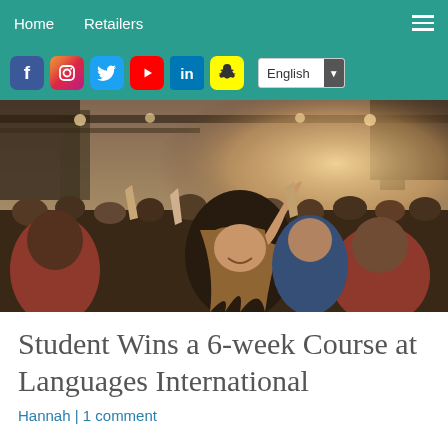Home  Retailers  ☰
[Figure (screenshot): Social media icons: Facebook, Instagram, Twitter, YouTube, LinkedIn, Snapchat, and English language selector dropdown]
[Figure (photo): A smiling young woman with long hair raising her arm in a crowd at an outdoor event, warm sunset lighting, festival atmosphere]
Student Wins a 6-week Course at Languages International
Hannah | 1 comment